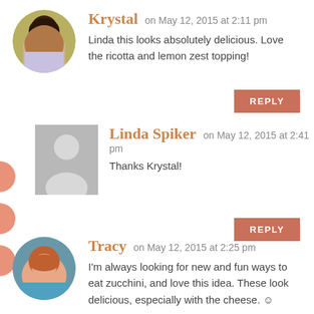Krystal on May 12, 2015 at 2:11 pm
Linda this looks absolutely delicious. Love the ricotta and lemon zest topping!
REPLY
Linda Spiker on May 12, 2015 at 2:41 pm
Thanks Krystal!
REPLY
Tracy on May 12, 2015 at 2:25 pm
I'm always looking for new and fun ways to eat zucchini, and love this idea. These look delicious, especially with the cheese. ☺